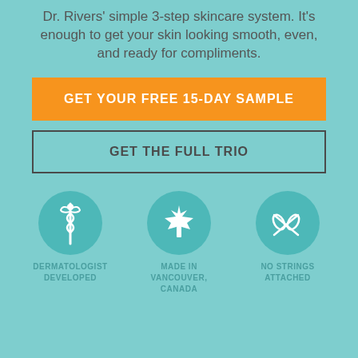Dr. Rivers' simple 3-step skincare system. It's enough to get your skin looking smooth, even, and ready for compliments.
GET YOUR FREE 15-DAY SAMPLE
GET THE FULL TRIO
[Figure (infographic): Three teal circles with white icons: caduceus (medical), maple leaf (Canadian), scissors (no strings). Labels: DERMATOLOGIST DEVELOPED, MADE IN VANCOUVER, CANADA, NO STRINGS ATTACHED.]